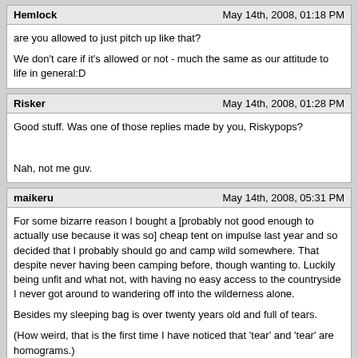Hemlock — May 14th, 2008, 01:18 PM
are you allowed to just pitch up like that?
We don't care if it's allowed or not - much the same as our attitude to life in general:D
Risker — May 14th, 2008, 01:28 PM
Good stuff. Was one of those replies made by you, Riskypops?
Nah, not me guv.
maikeru — May 14th, 2008, 05:31 PM
For some bizarre reason I bought a [probably not good enough to actually use because it was so] cheap tent on impulse last year and so decided that I probably should go and camp wild somewhere. That despite never having been camping before, though wanting to. Luckily being unfit and what not, with having no easy access to the countryside I never got around to wandering off into the wilderness alone.
Besides my sleeping bag is over twenty years old and full of tears.
(How weird, that is the first time I have noticed that 'tear' and 'tear' are homograms.)
Michael.
Mr Flibble — May 14th, 2008, 06:15 PM
Cherry and I did quite a bit of camping a couple of summers ago, but no where in the peak district.